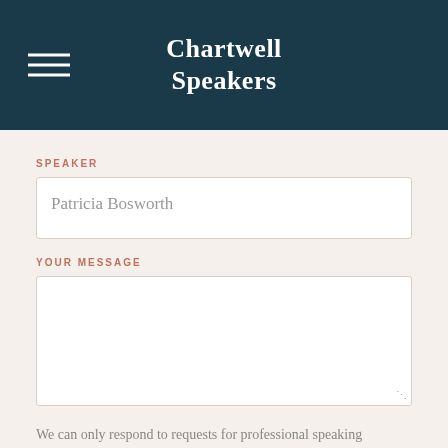Chartwell Speakers
SPEAKER
Patricia Bosworth
YOUR MESSAGE
We can only respond to requests for professional speaking engagements. We are unable to respond to requests for autographs, shoutouts and personalized messages.
Get the latest speaker insights and news.